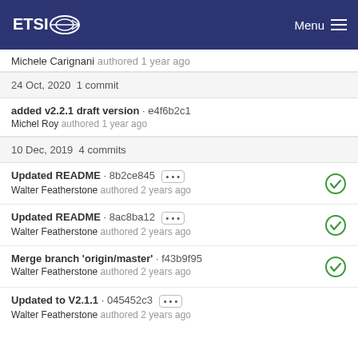ETSI  Menu
Michele Carignani authored 1 year ago
24 Oct, 2020 1 commit
added v2.2.1 draft version · e4f6b2c1
Michel Roy authored 1 year ago
10 Dec, 2019 4 commits
Updated README · 8b2ce845 •••
Walter Featherstone authored 2 years ago
Updated README · 8ac8ba12 •••
Walter Featherstone authored 2 years ago
Merge branch 'origin/master' · f43b9f95
Walter Featherstone authored 2 years ago
Updated to V2.1.1 · 045452c3 •••
Walter Featherstone authored 2 years ago